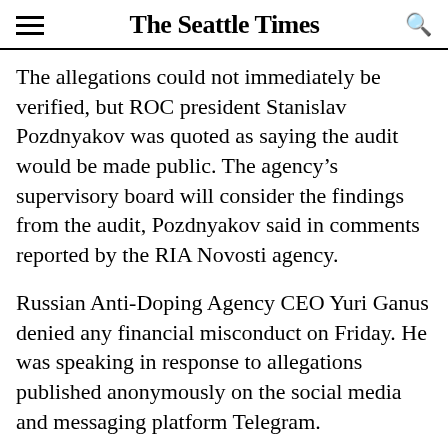The Seattle Times
The allegations could not immediately be verified, but ROC president Stanislav Pozdnyakov was quoted as saying the audit would be made public. The agency's supervisory board will consider the findings from the audit, Pozdnyakov said in comments reported by the RIA Novosti agency.
Russian Anti-Doping Agency CEO Yuri Ganus denied any financial misconduct on Friday. He was speaking in response to allegations published anonymously on the social media and messaging platform Telegram.
The Russian agency, known as RUSADA, is challenging the World Anti-Doping Agency over its decision to bar Russia's name and flag from major